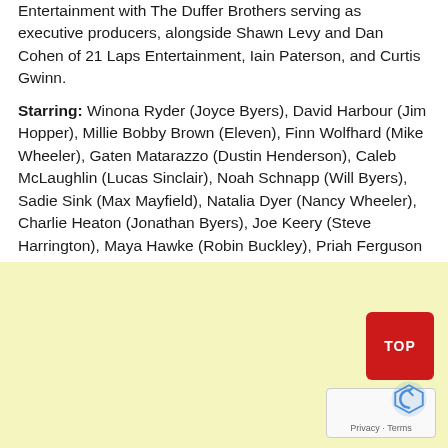Entertainment with The Duffer Brothers serving as executive producers, alongside Shawn Levy and Dan Cohen of 21 Laps Entertainment, Iain Paterson, and Curtis Gwinn.
Starring: Winona Ryder (Joyce Byers), David Harbour (Jim Hopper), Millie Bobby Brown (Eleven), Finn Wolfhard (Mike Wheeler), Gaten Matarazzo (Dustin Henderson), Caleb McLaughlin (Lucas Sinclair), Noah Schnapp (Will Byers), Sadie Sink (Max Mayfield), Natalia Dyer (Nancy Wheeler), Charlie Heaton (Jonathan Byers), Joe Keery (Steve Harrington), Maya Hawke (Robin Buckley), Priah Ferguson (Erica Sinclair), Brett Gelman (Murray), Cara Buono (Karen Wheeler) with Matthew Modine (Dr. Brenner) and Paul Reiser (Dr. Owens)